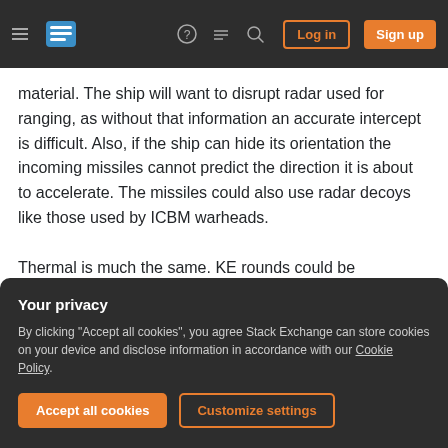Stack Exchange navigation bar with hamburger menu, logo, help, chat, search icons, Log in and Sign up buttons
material. The ship will want to disrupt radar used for ranging, as without that information an accurate intercept is difficult. Also, if the ship can hide its orientation the incoming missiles cannot predict the direction it is about to accelerate. The missiles could also use radar decoys like those used by ICBM warheads.

Thermal is much the same. KE rounds could be supercooled before firing, and are small enough to make them almost invisible in practical terms.
Your privacy
By clicking "Accept all cookies", you agree Stack Exchange can store cookies on your device and disclose information in accordance with our Cookie Policy.
Accept all cookies
Customize settings